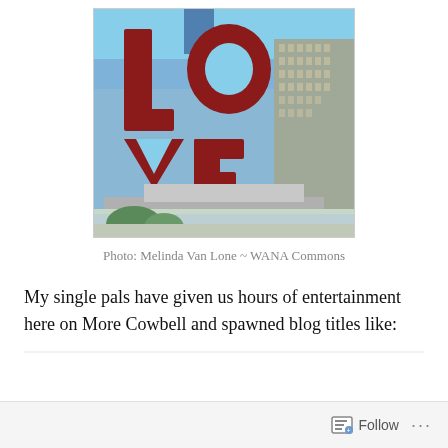[Figure (photo): Photograph of the LOVE sculpture (red block letters spelling LOVE) against a blue sky with city buildings in the background, by Melinda Van Lone]
Photo: Melinda Van Lone ~ WANA Commons
My single pals have given us hours of entertainment here on More Cowbell and spawned blog titles like: